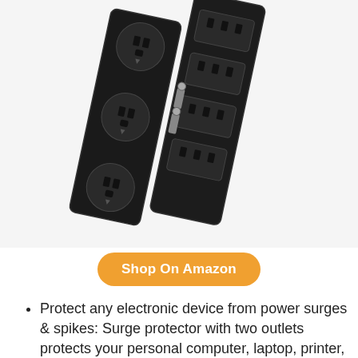[Figure (photo): A black surge protector power strip photographed at an angle, showing multiple electrical outlets on both sides and coaxial cable connectors in the middle.]
Shop On Amazon
Protect any electronic device from power surges & spikes: Surge protector with two outlets protects your personal computer, laptop, printer, scanner, router, phone, fax, modem, television, lamp or any other